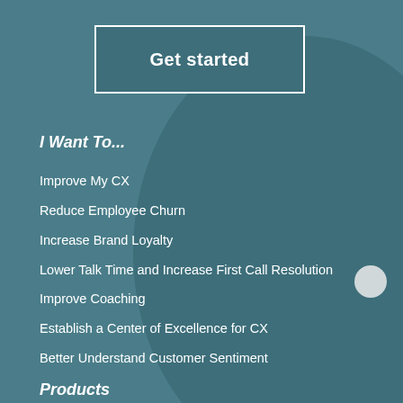[Figure (infographic): Background with teal/dark teal circular arc shape and a light gray dot element on the right side]
Get started
I Want To...
Improve My CX
Reduce Employee Churn
Increase Brand Loyalty
Lower Talk Time and Increase First Call Resolution
Improve Coaching
Establish a Center of Excellence for CX
Better Understand Customer Sentiment
Products